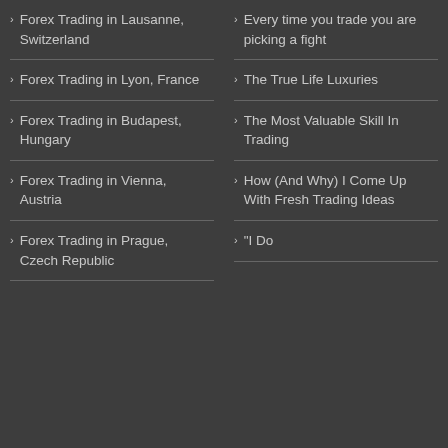Forex Trading in Lausanne, Switzerland
Forex Trading in Lyon, France
Forex Trading in Budapest, Hungary
Forex Trading in Vienna, Austria
Forex Trading in Prague, Czech Republic
Every time you trade you are picking a fight
The True Life Luxuries
The Most Valuable Skill In Trading
How (And Why) I Come Up With Fresh Trading Ideas
"I Do